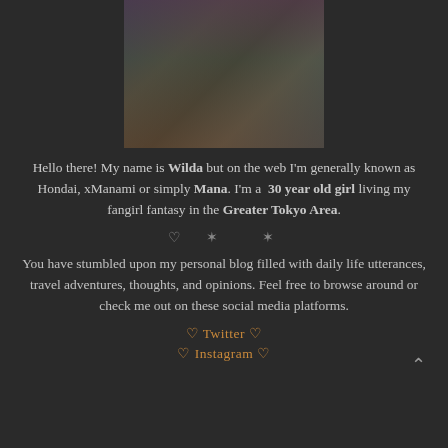[Figure (illustration): Anime-style illustration of a girl sitting, wearing a dark outfit, photographed from above]
Hello there! My name is Wilda but on the web I'm generally known as Hondai, xManami or simply Mana. I'm a 30 year old girl living my fangirl fantasy in the Greater Tokyo Area.
♡ * *
You have stumbled upon my personal blog filled with daily life utterances, travel adventures, thoughts, and opinions. Feel free to browse around or check me out on these social media platforms.
♡ Twitter ♡
♡ Instagram ♡